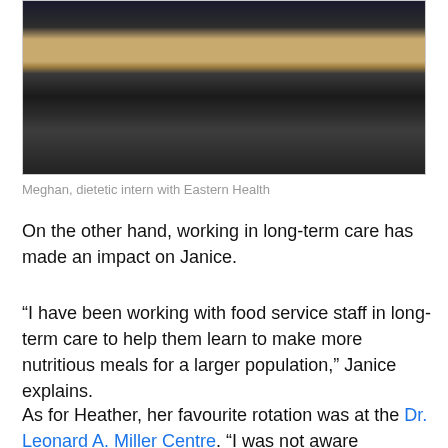[Figure (photo): A person seated at a desk in an office environment, viewed from across the desk. The desk has a wooden surface with papers and purple folders. The background is dark.]
Meghan, dietetic intern with Eastern Health
On the other hand, working in long-term care has made an impact on Janice.
“I have been working with food service staff in long-term care to help them learn to make more nutritious meals for a larger population,” Janice explains.
As for Heather, her favourite rotation was at the Dr. Leonard A. Miller Centre. “I was not aware dietitians